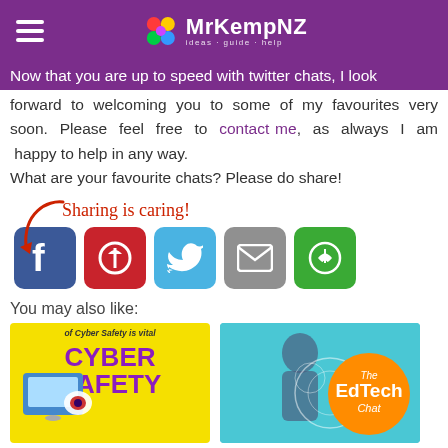MrKempNZ
Now that you are up to speed with twitter chats, I look forward to welcoming you to some of my favourites very soon. Please feel free to contact me, as always I am happy to help in any way.
What are your favourite chats? Please do share!
[Figure (infographic): Sharing is caring! label with arrow and social media share buttons: Facebook, Pinterest, Twitter, Email, and a share button]
You may also like:
[Figure (photo): Cyber Safety thumbnail - yellow background with purple text reading CYBER SAFETY]
[Figure (photo): The EdTech Chat thumbnail - teal background with orange circle logo]